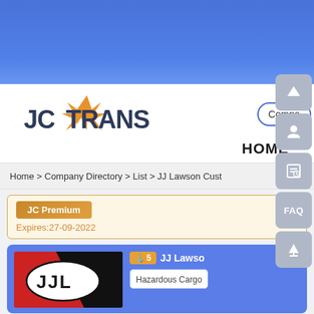[Figure (logo): JCTrans logo with orange star and stylized text]
Compa...
HOME
Home > Company Directory > List > JJ Lawson Cust...
JC Premium
Expires:27-09-2022
[Figure (logo): JJL company logo with red, black and white design]
5  JJ Lawso...
Hazardous Carg...